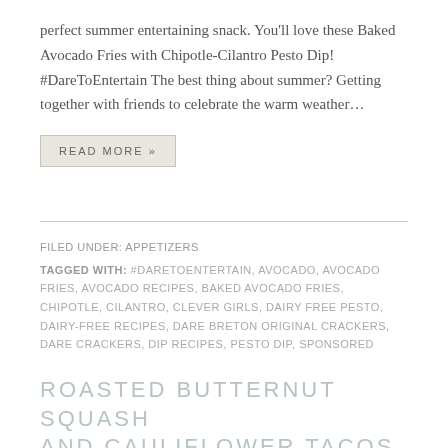perfect summer entertaining snack. You'll love these Baked Avocado Fries with Chipotle-Cilantro Pesto Dip! #DareToEntertain The best thing about summer? Getting together with friends to celebrate the warm weather…
READ MORE »
FILED UNDER: APPETIZERS
TAGGED WITH: #DARETOENTERTAIN, AVOCADO, AVOCADO FRIES, AVOCADO RECIPES, BAKED AVOCADO FRIES, CHIPOTLE, CILANTRO, CLEVER GIRLS, DAIRY FREE PESTO, DAIRY-FREE RECIPES, DARE BRETON ORIGINAL CRACKERS, DARE CRACKERS, DIP RECIPES, PESTO DIP, SPONSORED
ROASTED BUTTERNUT SQUASH AND CAULIFLOWER TACOS WITH